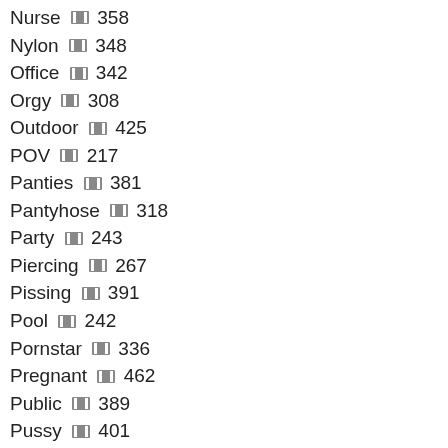Nurse 358
Nylon 348
Office 342
Orgy 308
Outdoor 425
POV 217
Panties 381
Pantyhose 318
Party 243
Piercing 267
Pissing 391
Pool 242
Pornstar 336
Pregnant 462
Public 389
Pussy 401
Reality 351
Redhead 338